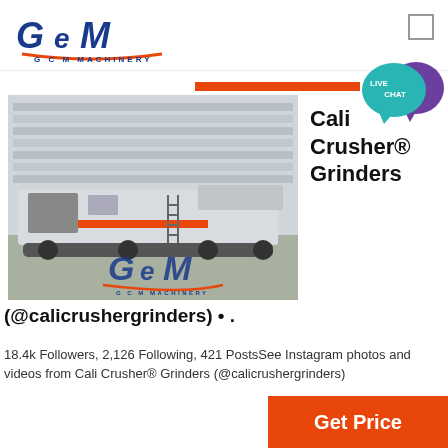[Figure (logo): GCM Machinery logo with stylized G C M letters and GCM MACHINERY text below with orange underline]
[Figure (other): Live Chat speech bubble icon with teal/purple colors and LIVE CHAT text]
[Figure (photo): Photo of a large mobile crushing/screening machine on tracks with GCM Machinery watermark overlay, parked in front of an industrial building]
Cali Crusher® Grinders
(@calicrushergrinders) • .
18.4k Followers, 2,126 Following, 421 PostsSee Instagram photos and videos from Cali Crusher® Grinders (@calicrushergrinders)
Get Price